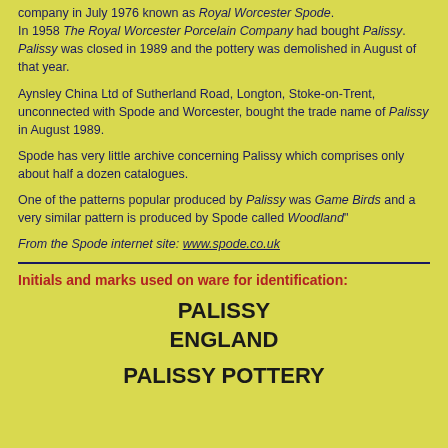company in July 1976 known as Royal Worcester Spode. In 1958 The Royal Worcester Porcelain Company had bought Palissy. Palissy was closed in 1989 and the pottery was demolished in August of that year.
Aynsley China Ltd of Sutherland Road, Longton, Stoke-on-Trent, unconnected with Spode and Worcester, bought the trade name of Palissy in August 1989.
Spode has very little archive concerning Palissy which comprises only about half a dozen catalogues.
One of the patterns popular produced by Palissy was Game Birds and a very similar pattern is produced by Spode called Woodland"
From the Spode internet site: www.spode.co.uk
Initials and marks used on ware for identification:
PALISSY
ENGLAND
PALISSY POTTERY